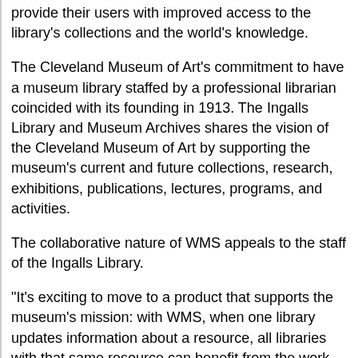provide their users with improved access to the library's collections and the world's knowledge.
The Cleveland Museum of Art's commitment to have a museum library staffed by a professional librarian coincided with its founding in 1913. The Ingalls Library and Museum Archives shares the vision of the Cleveland Museum of Art by supporting the museum's current and future collections, research, exhibitions, publications, lectures, programs, and activities.
The collaborative nature of WMS appeals to the staff of the Ingalls Library.
"It's exciting to move to a product that supports the museum's mission: with WMS, when one library updates information about a resource, all libraries with that same resource can benefit from the work that has already been done rather than reinventing the wheel," said Heather Saunders, Director of Ingalls Library. "We add an incredible amount of detail, contributing to discovery. The process is akin to crowdsourcing, and it's a great follow-up to the museum's open access initiative."